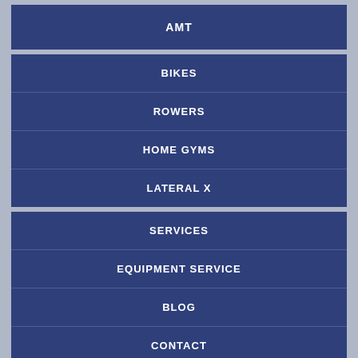AMT
BIKES
ROWERS
HOME GYMS
LATERAL X
SERVICES
EQUIPMENT SERVICE
BLOG
CONTACT
STORE LOCATION